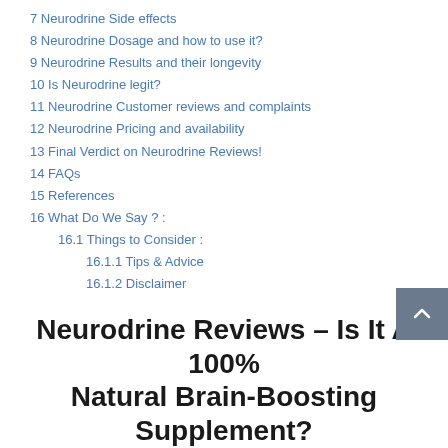7 Neurodrine Side effects
8 Neurodrine Dosage and how to use it?
9 Neurodrine Results and their longevity
10 Is Neurodrine legit?
11 Neurodrine Customer reviews and complaints
12 Neurodrine Pricing and availability
13 Final Verdict on Neurodrine Reviews!
14 FAQs
15 References
16 What Do We Say ? :
16.1 Things to Consider :
16.1.1 Tips & Advice
16.1.2 Disclaimer
Neurodrine Reviews – Is It A 100% Natural Brain-Boosting Supplement?
Additionally, some of the medications can also trigger these problems due to their side effects. However, it's best to get